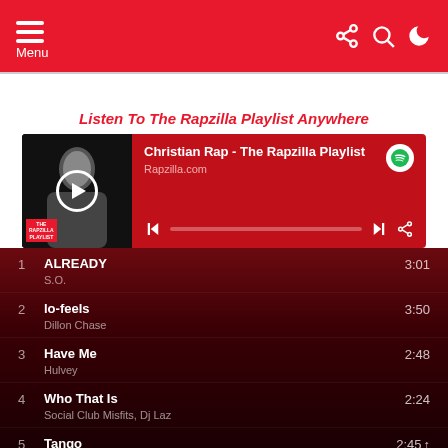Menu
Listen To The Rapzilla Playlist Anywhere
[Figure (screenshot): Spotify embedded music player showing Christian Rap - The Rapzilla Playlist by Rapzilla.com with album art, play controls, and progress bar]
1  ALREADY  3:01  S.O.
2  lo-feels  3:50  Dillon Chase
3  Have Me  2:48  Hulvey
4  Who That Is  2:24  Social Club Misfits, Dj Laz
5  Tango  2:45  Ashlee Keyton